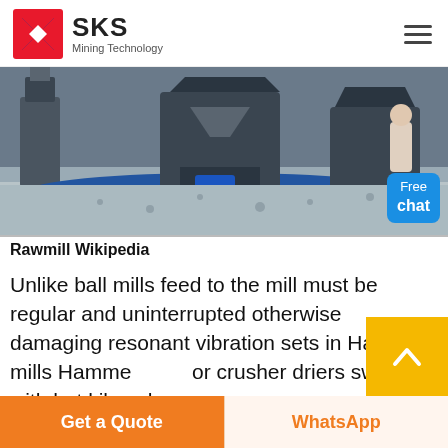[Figure (logo): SKS Mining Technology logo with red and blue shield emblem and company name]
[Figure (photo): Industrial mining mill equipment in a factory floor with grey aggregate material; a 'Free chat' blue badge overlay in bottom right]
Rawmill Wikipedia
Unlike ball mills feed to the mill must be regular and uninterrupted otherwise damaging resonant vibration sets in Hammer mills Hammer mills or crusher driers swept with hot kiln exhaust gases